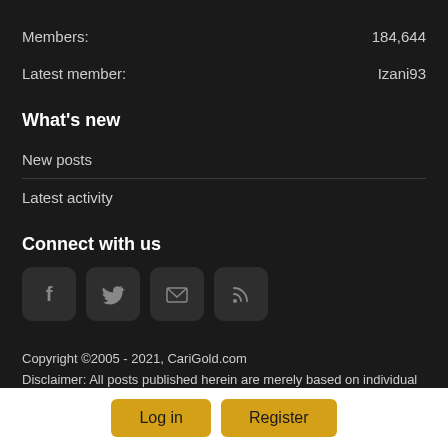Members: 184,644
Latest member: Izani93
What's new
New posts
Latest activity
Connect with us
[Figure (infographic): Four social media icon buttons: Facebook (f), Twitter (bird), Email (envelope), RSS (signal icon), each in a dark rounded square]
Copyright ©2005 - 2021, CariGold.com
Disclaimer: All posts published herein are merely based on individual
Log in
Register